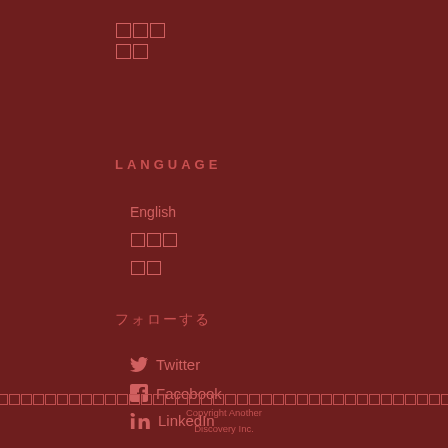□□□
□□
LANGUAGE
English
□□□
□□
フォローする
Twitter
Facebook
LinkedIn
□□□□□□□□□□□□□□□□□□□□□□□□□□□□□□□□□□□□□□□□□Copyright Another Discovery Inc.